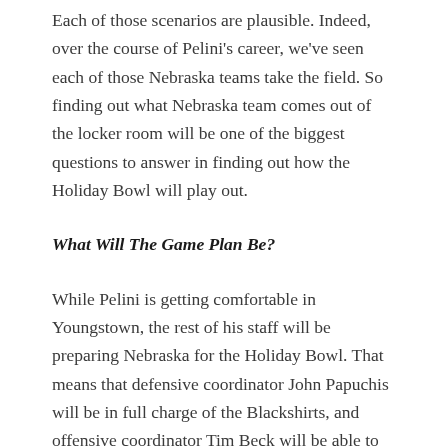Each of those scenarios are plausible. Indeed, over the course of Pelini's career, we've seen each of those Nebraska teams take the field. So finding out what Nebraska team comes out of the locker room will be one of the biggest questions to answer in finding out how the Holiday Bowl will play out.
What Will The Game Plan Be?
While Pelini is getting comfortable in Youngstown, the rest of his staff will be preparing Nebraska for the Holiday Bowl. That means that defensive coordinator John Papuchis will be in full charge of the Blackshirts, and offensive coordinator Tim Beck will be able to call the game he wants.
Throw in a month to prepare—and coaches who will be